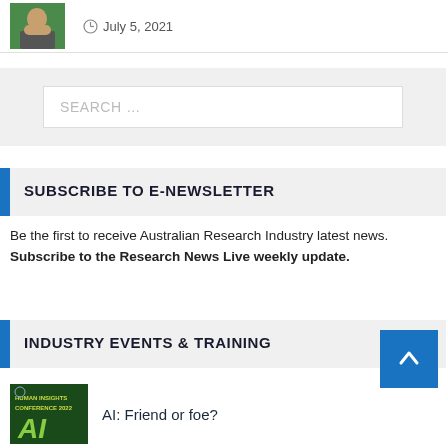July 5, 2021
SEARCH ...
SUBSCRIBE TO E-NEWSLETTER
Be the first to receive Australian Research Industry latest news. Subscribe to the Research News Live weekly update.
INDUSTRY EVENTS & TRAINING
AI: Friend or foe?